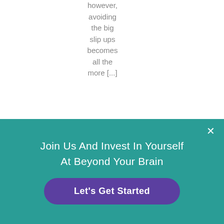however, avoiding the big slip ups becomes all the more [...]
[Figure (other): Small purple circular dot indicator]
Join Us And Invest In Yourself At Beyond Your Brain
Let's Get Started